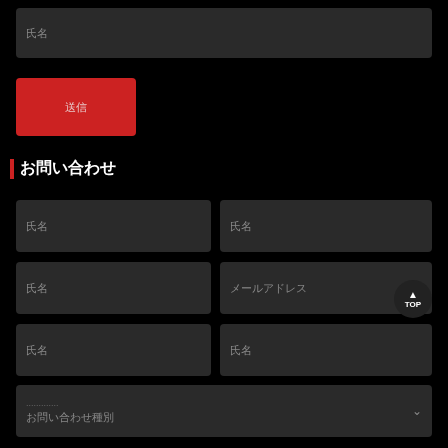氏名
送信
お問い合わせ
氏名
氏名
氏名
メールアドレス
氏名
氏名
お問い合わせ種別
氏名
送信